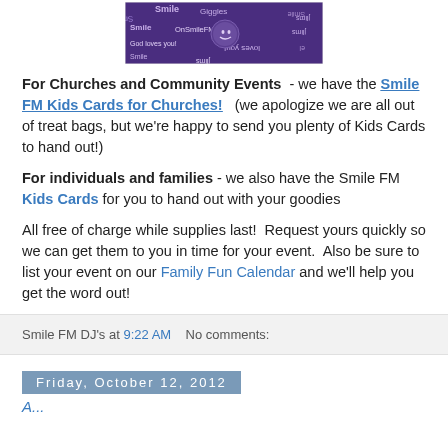[Figure (photo): Purple banner with 'Giggles' and 'Smile FM' branding, text 'God loves you!' repeated, with smiley face graphics]
For Churches and Community Events - we have the Smile FM Kids Cards for Churches!  (we apologize we are all out of treat bags, but we're happy to send you plenty of Kids Cards to hand out!)
For individuals and families - we also have the Smile FM Kids Cards for you to hand out with your goodies
All free of charge while supplies last!  Request yours quickly so we can get them to you in time for your event.  Also be sure to list your event on our Family Fun Calendar and we'll help you get the word out!
Smile FM DJ's at 9:22 AM   No comments:
Friday, October 12, 2012